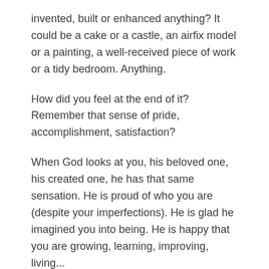invented, built or enhanced anything? It could be a cake or a castle, an airfix model or a painting, a well-received piece of work or a tidy bedroom. Anything.
How did you feel at the end of it? Remember that sense of pride, accomplishment, satisfaction?
When God looks at you, his beloved one, his created one, he has that same sensation. He is proud of who you are (despite your imperfections). He is glad he imagined you into being. He is happy that you are growing, learning, improving, living...
He doesn't make mistakes. And he doesn't make prototypes. You are the one and only you.
With God's help you can be the best 'you' imaginable